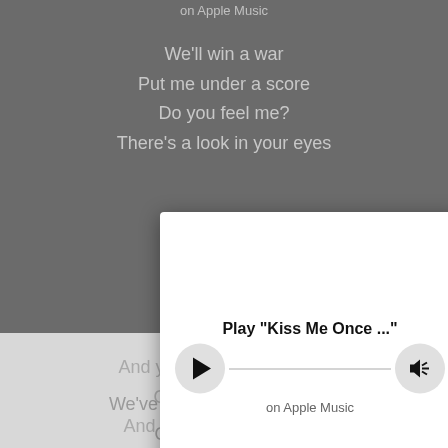on Apple Music
We'll win a war
Put me under a score
Do you feel me?
There's a look in your eyes
[Figure (screenshot): Apple Music player modal with play button, progress bar, volume button, title 'Play "Kiss Me Once ..."' and subtitle 'on Apple Music'. A close (X) button appears at top right of modal.]
We've got some loving to do.
Oh, kiss me once
And you will watch me fall.
Oh, kiss me twice
And I will give you my all.